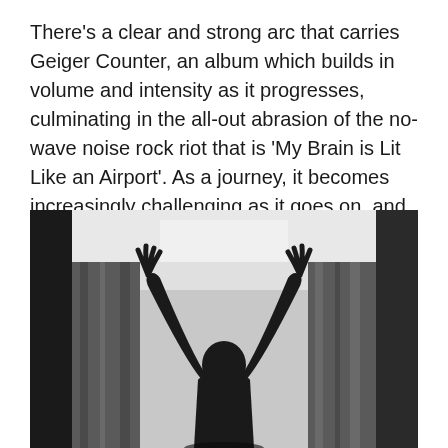There's a clear and strong arc that carries Geiger Counter, an album which builds in volume and intensity as it progresses, culminating in the all-out abrasion of the no-wave noise rock riot that is 'My Brain is Lit Like an Airport'. As a journey, it becomes increasingly challenging as it goes on, and as an album it's stunning.
[Figure (photo): Black and white silhouette photograph of a person with arms raised upward against a bright window with curtains on either side. The figure is in complete shadow against the light background.]